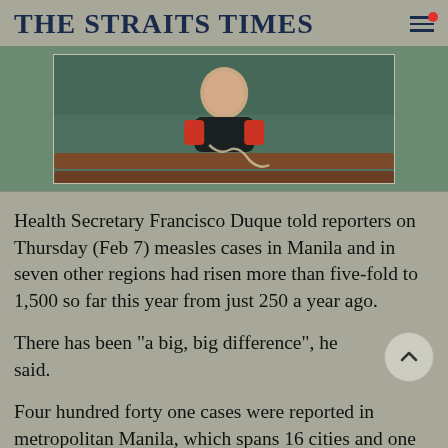THE STRAITS TIMES
[Figure (photo): Person in water, smiling, wearing scuba/diving gear, photographed from above. Green water visible. Brown structure below.]
Health Secretary Francisco Duque told reporters on Thursday (Feb 7) measles cases in Manila and in seven other regions had risen more than five-fold to 1,500 so far this year from just 250 a year ago.
There has been "a big, big difference", he said.
Four hundred forty one cases were reported in metropolitan Manila, which spans 16 cities and one